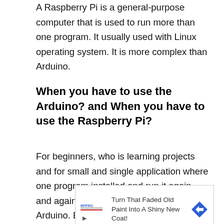A Raspberry Pi is a general-purpose computer that is used to run more than one program. It usually used with Linux operating system. It is more complex than Arduino.
When you have to use the Arduino? and When you have to use the Raspberry Pi?
For beginners, who is learning projects and for small and single application where one program installed and run it again and again for a specific task, then go for Arduino. Because it is easy to use,
[Figure (screenshot): Advertisement banner: 'Turn That Faded Old Paint Into A Shiny New Coat!' with a paint brand logo on the left and a blue diamond-shaped road sign icon on the right. Below the banner are play and close controls.]